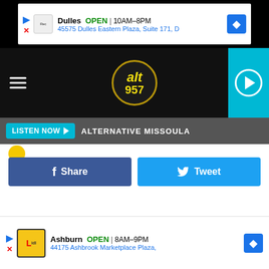[Figure (screenshot): Top advertisement banner: Dulles store, OPEN 10AM-8PM, 45575 Dulles Eastern Plaza, Suite 171, D]
[Figure (screenshot): Navigation bar with hamburger menu, alt 957 radio logo, teal play button on right]
[Figure (screenshot): Listen Now button bar with ALTERNATIVE MISSOULA text]
[Figure (screenshot): Facebook Share and Twitter Tweet social sharing buttons]
[Figure (photo): Baseball player in Mets jersey on left, baseball player running on right, with cyan arrow between images]
While speaking to 91X San Diego, Tom spoke about To The Stars Academy, a new television series, aliens and government secrets. The Angels & Airwaves frontman also added ... o
[Figure (screenshot): Bottom advertisement banner: Ashburn store, OPEN 8AM-9PM, 44175 Ashbrook Marketplace Plaza]